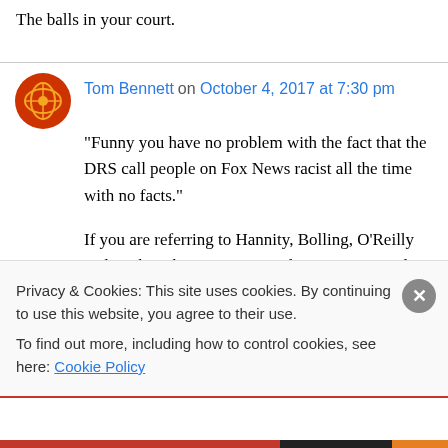The balls in your court.
"Funny you have no problem with the fact that the DRS call people on Fox News racist all the time with no facts."

If you are referring to Hannity, Bolling, O'Reilly and Tucker, the DRS are not alone. Many people on blogs and Twitter give many examples of
Privacy & Cookies: This site uses cookies. By continuing to use this website, you agree to their use.
To find out more, including how to control cookies, see here: Cookie Policy